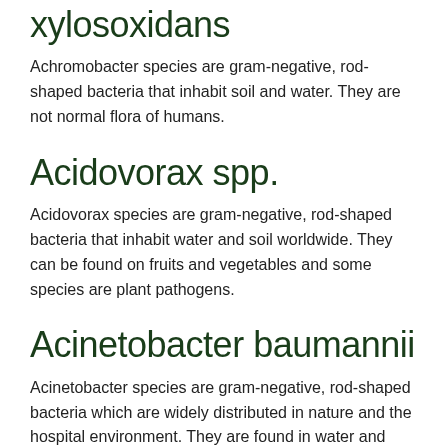xylosoxidans
Achromobacter species are gram-negative, rod-shaped bacteria that inhabit soil and water. They are not normal flora of humans.
Acidovorax spp.
Acidovorax species are gram-negative, rod-shaped bacteria that inhabit water and soil worldwide. They can be found on fruits and vegetables and some species are plant pathogens.
Acinetobacter baumannii
Acinetobacter species are gram-negative, rod-shaped bacteria which are widely distributed in nature and the hospital environment. They are found in water and soil, on fruits and vegetables,